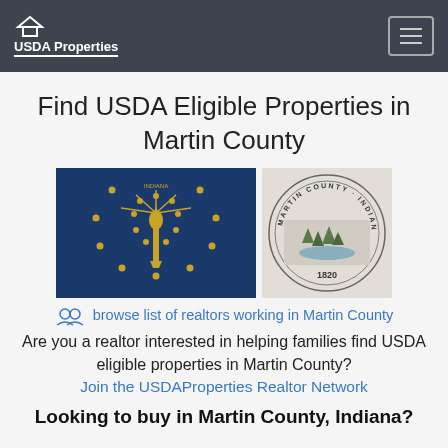USDA Properties
Find USDA Eligible Properties in Martin County
[Figure (photo): Indiana state flag — blue background with golden torch and stars]
[Figure (photo): Martin County Indiana seal, circular, text 'MARTIN COUNTY INDIANA' around border, year 1920]
browse list of realtors working in Martin County
Are you a realtor interested in helping families find USDA eligible properties in Martin County?
Join the USDAProperties Realtor Network
Looking to buy in Martin County, Indiana?